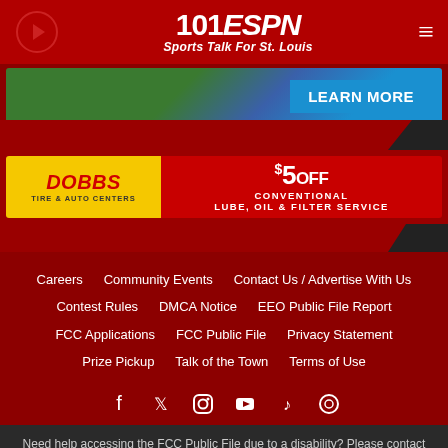[Figure (logo): 101 ESPN Sports Talk For St. Louis logo with play button and hamburger menu]
[Figure (photo): Advertisement banner with green foliage, Missouri logo, and LEARN MORE button in blue]
[Figure (photo): Dobbs Tire & Auto Centers advertisement: $5 OFF CONVENTIONAL LUBE, OIL & FILTER SERVICE]
Careers
Community Events
Contact Us / Advertise With Us
Contest Rules
DMCA Notice
EEO Public File Report
FCC Applications
FCC Public File
Privacy Statement
Prize Pickup
Talk of the Town
Terms of Use
[Figure (infographic): Social media icons: Facebook, Twitter, Instagram, YouTube, TikTok, and one more icon]
Need help accessing the FCC Public File due to a disability? Please contact Kristi Carson at publicfilestlouis@hubbardradio.com or (314) 983-6208